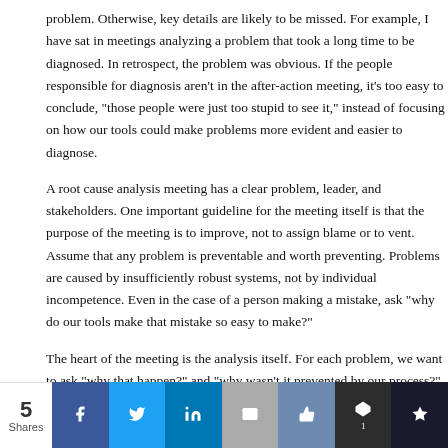problem. Otherwise, key details are likely to be missed. For example, I have sat in meetings analyzing a problem that took a long time to be diagnosed. In retrospect, the problem was obvious. If the people responsible for diagnosis aren't in the after-action meeting, it's too easy to conclude, "those people were just too stupid to see it," instead of focusing on how our tools could make problems more evident and easier to diagnose.
A root cause analysis meeting has a clear problem, leader, and stakeholders. One important guideline for the meeting itself is that the purpose of the meeting is to improve, not to assign blame or to vent. Assume that any problem is preventable and worth preventing. Problems are caused by insufficiently robust systems, not by individual incompetence. Even in the case of a person making a mistake, ask "why do our tools make that mistake so easy to make?"
The heart of the meeting is the analysis itself. For each problem, we want to ask "why that happen?" and "why wasn't it prevented by our process?" We do that until we have at least five levels of analysis. Of course, the number five is not sa…
5 Shares | Facebook | Twitter | LinkedIn | Email | Like | Buffer 1 | Misuse